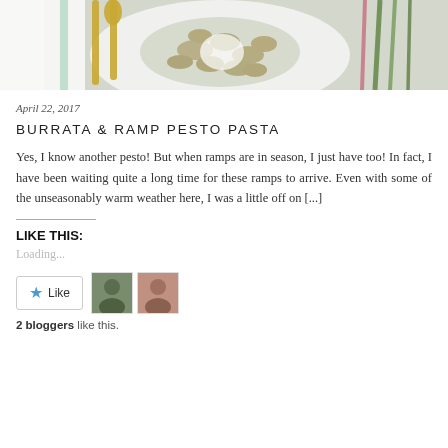[Figure (photo): Top portion of a food blog photo showing a bowl of pasta with pesto and burrata, gold utensils, and ramp greens on a white background.]
April 22, 2017
BURRATA & RAMP PESTO PASTA
Yes, I know another pesto! But when ramps are in season, I just have too! In fact, I have been waiting quite a long time for these ramps to arrive. Even with some of the unseasonably warm weather here, I was a little off on [...]
LIKE THIS:
Loading...
2 bloggers like this.